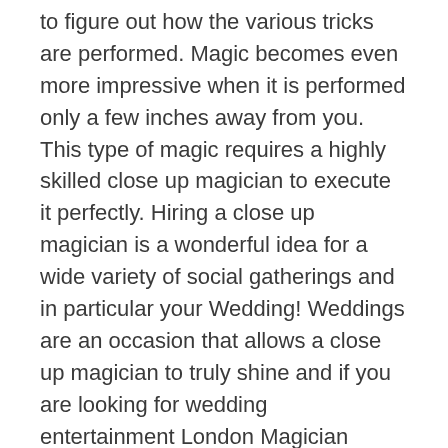to figure out how the various tricks are performed. Magic becomes even more impressive when it is performed only a few inches away from you. This type of magic requires a highly skilled close up magician to execute it perfectly. Hiring a close up magician is a wonderful idea for a wide variety of social gatherings and in particular your Wedding! Weddings are an occasion that allows a close up magician to truly shine and if you are looking for wedding entertainment London Magician Roger Lapin is the perfect choice for your big day.
When couples are planning their wedding, they want it to stand out from the crowd. They want it to be a memorable occasion for everyone in attendance. Hiring a magician is one way to make your wedding something that your guests will be talking about for